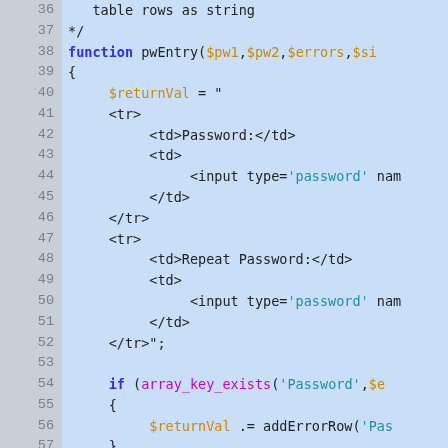[Figure (screenshot): PHP source code editor screenshot showing lines 36-63 of a PHP file with syntax highlighting. Code includes a function pwEntry with HTML table rows for Password and Repeat Password input fields, an if statement checking array_key_exists for 'Password', and the beginning of a comment block for textAreaEntry function.]